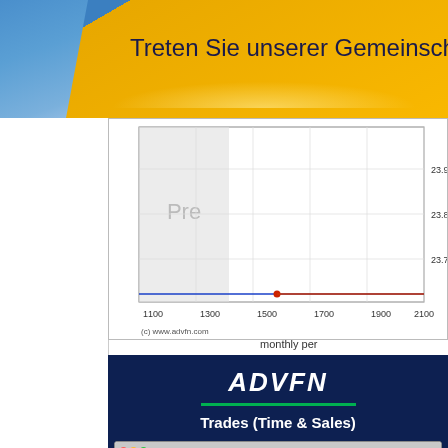[Figure (screenshot): ADVFN banner header with blue and gold/yellow background and German text 'Treten Sie unserer Gemeinschaft bei']
[Figure (line-chart): Stock price chart from ADVFN showing price range ~23.7-23.9 on y-axis and time range 1100-2100 on x-axis, with 'Pre' label in shaded pre-market region, blue flat line and red dot around time 1620]
(c) www.advfn.com
monthly per
[Figure (screenshot): ADVFN Trades (Time & Sales) screenshot showing a table with columns: Num, Exch., Price, Size, Type, C, T, Bid, Offer, Time. Rows show trades for num 13675, 13674, 13673, 13672 on nyse at prices around 70.07 with various sizes.]